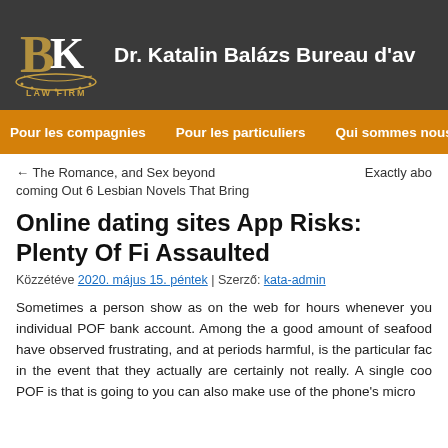Dr. Katalin Balázs Bureau d'av
Pour les compagnies  Pour les particuliers  Qui sommes nous?  Co
← The Romance, and Sex beyond coming Out 6 Lesbian Novels That Bring
Exactly abo
Online dating sites App Risks: Plenty Of Fi Assaulted
Közzétéve 2020. május 15. péntek | Szerző: kata-admin
Sometimes a person show as on the web for hours whenever you individual POF bank account. Among the a good amount of seafood have observed frustrating, and at periods harmful, is the particular fac in the event that they actually are certainly not really. A single coo POF is that is going to you can also make use of the phone's micro